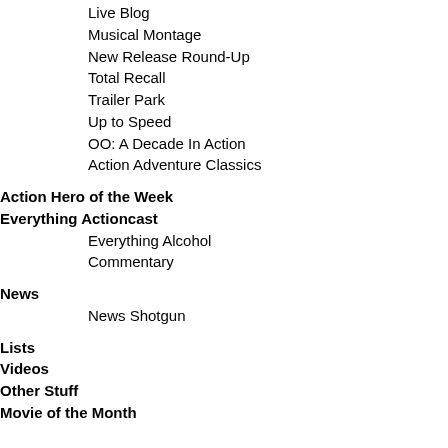Live Blog
Musical Montage
New Release Round-Up
Total Recall
Trailer Park
Up to Speed
OO: A Decade In Action
Action Adventure Classics
Action Hero of the Week
Everything Actioncast
Everything Alcohol
Commentary
News
News Shotgun
Lists
Videos
Other Stuff
Movie of the Month